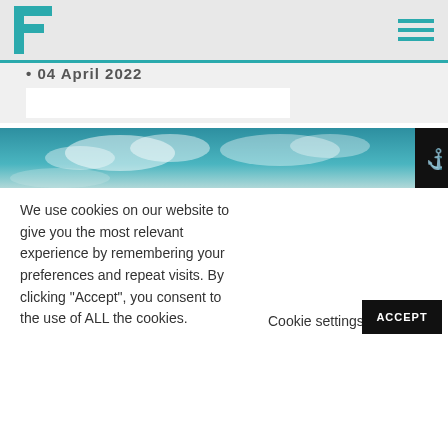F [logo] [hamburger menu]
• 04 April 2022
[Figure (photo): Partial view of a sky with clouds, teal/blue tones. A small dark box with an icon is visible at the right edge.]
We use cookies on our website to give you the most relevant experience by remembering your preferences and repeat visits. By clicking "Accept", you consent to the use of ALL the cookies.
Cookie settings
ACCEPT